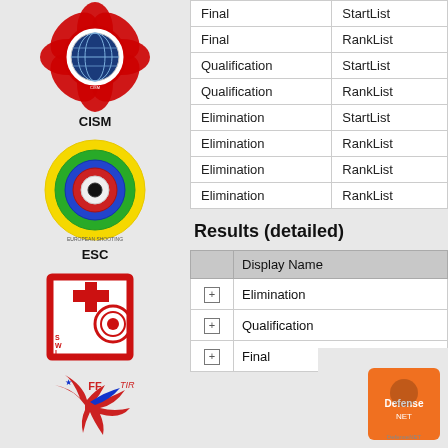[Figure (logo): CISM international shooting organization circular logo with red flower petals and globe]
CISM
[Figure (logo): ESC European Shooting Confederation circular target logo with blue, yellow, green, red rings]
ESC
[Figure (logo): Swiss Shooting red square logo with target and cross design]
[Figure (logo): FFTIR French shooting federation logo with bird and tricolor design]
|  |  |
| --- | --- |
| Final | StartList |
| Final | RankList |
| Qualification | StartList |
| Qualification | RankList |
| Elimination | StartList |
| Elimination | RankList |
| Elimination | RankList |
| Elimination | RankList |
Results (detailed)
|  | Display Name |
| --- | --- |
| ⊕ | Elimination |
| ⊕ | Qualification |
| ⊕ | Final |
[Figure (logo): DefenseNET orange square logo at bottom right]